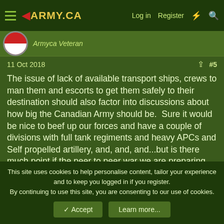ARMY.CA — Log in | Register
Armyca Veteran
11 Oct 2018  #5
The issue of lack of available transport ships, crews to man them and escorts to get them safely to their destination should also factor into discussions about how big the Canadian Army should be.  Sure it would be nice to beef up our forces and have a couple of divisions with full tank regiments and heavy APCs and Self propelled artillery, and, and, and...but is there much point if the peer to peer war we are preparing those forces for happens and we can't get them there?

Once again we come back to the same old issue.  No clear foreign policy and military strategy to inform what type and size
This site uses cookies to help personalise content, tailor your experience and to keep you logged in if you register.
By continuing to use this site, you are consenting to our use of cookies.
Accept  Learn more...